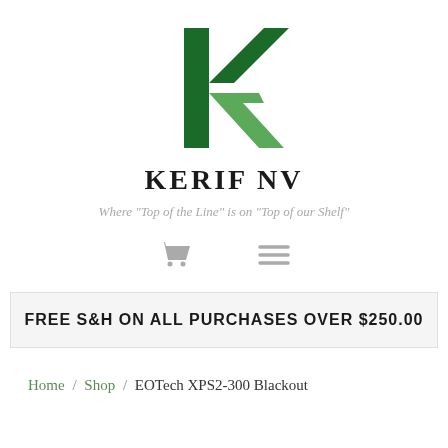[Figure (logo): Kerif NV logo: a stylized letter K made of dark green and light green geometric shapes]
KERIF NV
Where "Top of the Line" is on "Top of our Shelf"
[Figure (other): Shopping cart icon and hamburger menu icon in gray]
FREE S&H ON ALL PURCHASES OVER $250.00
Home / Shop / EOTech XPS2-300 Blackout